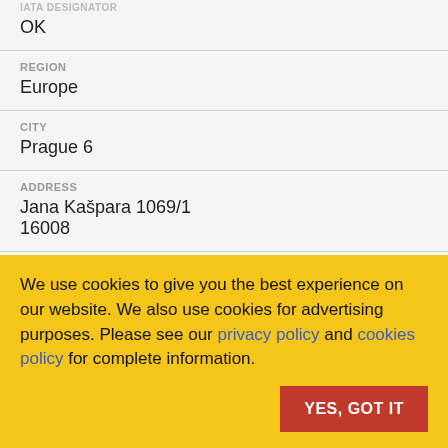IATA DESIGNATOR
OK
REGION
Europe
CITY
Prague 6
ADDRESS
Jana Kašpara 1069/1
16008
We use cookies to give you the best experience on our website. We also use cookies for advertising purposes. Please see our privacy policy and cookies policy for complete information.
YES, GOT IT